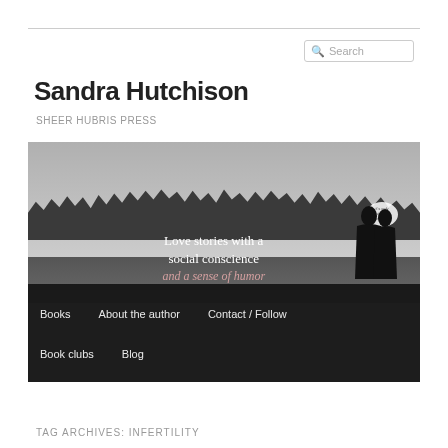Sandra Hutchison
SHEER HUBRIS PRESS
[Figure (photo): Black and white landscape photo with treeline and field. Text overlay reads 'Love stories with a social conscience and a sense of humor'. Navigation bar at bottom with: Books, About the author, Contact / Follow, Book clubs, Blog. Silhouette of couple about to kiss at right edge with speech bubble.]
TAG ARCHIVES: INFERTILITY